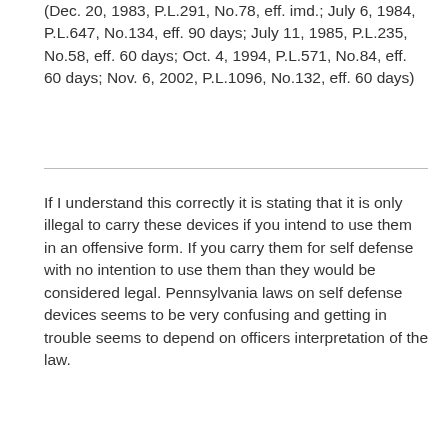(Dec. 20, 1983, P.L.291, No.78, eff. imd.; July 6, 1984, P.L.647, No.134, eff. 90 days; July 11, 1985, P.L.235, No.58, eff. 60 days; Oct. 4, 1994, P.L.571, No.84, eff. 60 days; Nov. 6, 2002, P.L.1096, No.132, eff. 60 days)
If I understand this correctly it is stating that it is only illegal to carry these devices if you intend to use them in an offensive form. If you carry them for self defense with no intention to use them than they would be considered legal. Pennsylvania laws on self defense devices seems to be very confusing and getting in trouble seems to depend on officers interpretation of the law.